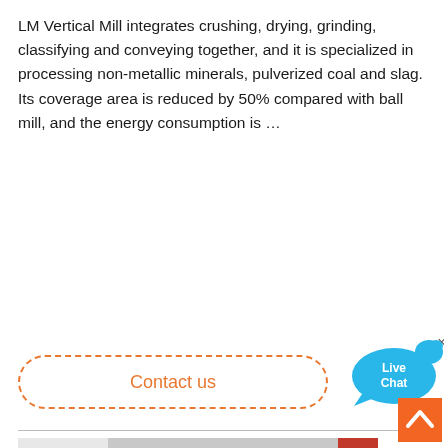LM Vertical Mill integrates crushing, drying, grinding, classifying and conveying together, and it is specialized in processing non-metallic minerals, pulverized coal and slag. Its coverage area is reduced by 50% compared with ball mill, and the energy consumption is …
Contact us
[Figure (illustration): Live Chat speech bubble icon in blue with 'Live Chat' text in white]
[Figure (photo): Close-up photo of a LM Vertical Mill machine interior showing white/grey metal components and structural parts, with AMC logo watermark visible at the bottom center]